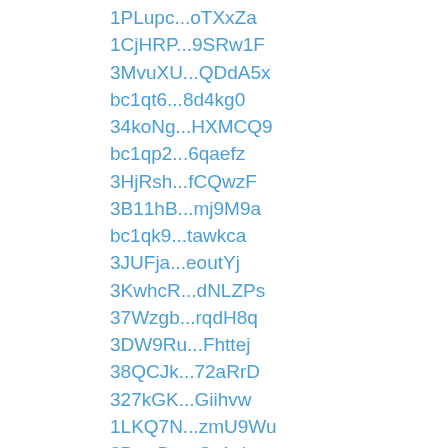1PLupc...oTXxZa
1CjHRP...9SRw1F
3MvuXU...QDdA5x
bc1qt6...8d4kg0
34koNg...HXMCQ9
bc1qp2...6qaefz
3HjRsh...fCQwzF
3B11hB...mj9M9a
bc1qk9...tawkca
3JUFja...eoutYj
3KwhcR...dNLZPs
37Wzgb...rqdH8q
3DW9Ru...Fhttej
38QCJk...72aRrD
327kGK...Giihvw
1LKQ7N...zmU9Wu
3BgwDg...Cc1akz
bc1qh6...axn2dg
1bPcYW...AvzYxM
37UzKo...oH2nHs
3BzujL...TS1UcQ
3EeNZ4...RMi3SJ